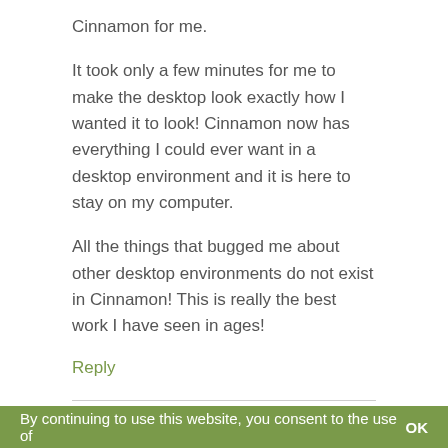Cinnamon for me.
It took only a few minutes for me to make the desktop look exactly how I wanted it to look! Cinnamon now has everything I could ever want in a desktop environment and it is here to stay on my computer.
All the things that bugged me about other desktop environments do not exist in Cinnamon! This is really the best work I have seen in ages!
Reply
the_Seppi
November 16, 2014 at 3:10 pm
Nice job! Cinnamon 2.4 is much better than 2.2, which
By continuing to use this website, you consent to the use of    OK